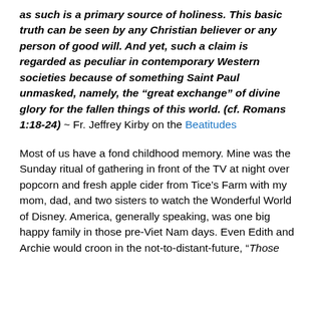as such is a primary source of holiness. This basic truth can be seen by any Christian believer or any person of good will. And yet, such a claim is regarded as peculiar in contemporary Western societies because of something Saint Paul unmasked, namely, the “great exchange” of divine glory for the fallen things of this world. (cf. Romans 1:18-24) ~ Fr. Jeffrey Kirby on the Beatitudes
Most of us have a fond childhood memory. Mine was the Sunday ritual of gathering in front of the TV at night over popcorn and fresh apple cider from Tice’s Farm with my mom, dad, and two sisters to watch the Wonderful World of Disney. America, generally speaking, was one big happy family in those pre-Viet Nam days. Even Edith and Archie would croon in the not-to-distant-future, “Those